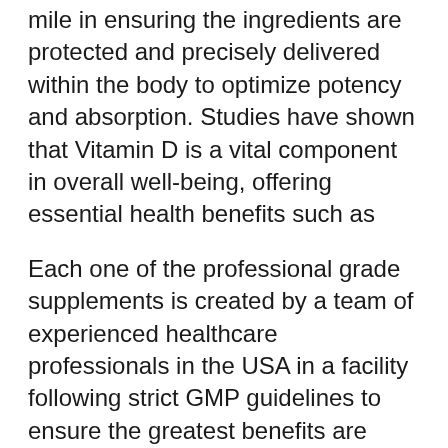mile in ensuring the ingredients are protected and precisely delivered within the body to optimize potency and absorption. Studies have shown that Vitamin D is a vital component in overall well-being, offering essential health benefits such as
Each one of the professional grade supplements is created by a team of experienced healthcare professionals in the USA in a facility following strict GMP guidelines to ensure the greatest benefits are achieved. Plus, a licensed physician reviewed and approved BioSchwartz vitamin D3 formula, so you can feel confident in knowing you're getting the best quality vitamin D3